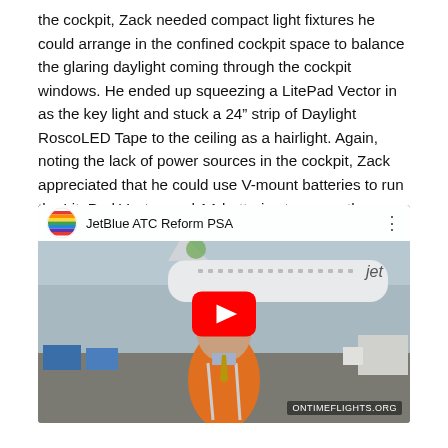the cockpit, Zack needed compact light fixtures he could arrange in the confined cockpit space to balance the glaring daylight coming through the cockpit windows. He ended up squeezing a LitePad Vector in as the key light and stuck a 24" strip of Daylight RoscoLED Tape to the ceiling as a hairlight. Again, noting the lack of power sources in the cockpit, Zack appreciated that he could use V-mount batteries to run the LitePad Vector, and AA batteries to power the RoscoLED Tape strip.
[Figure (screenshot): YouTube video embed showing 'JetBlue ATC Reform PSA'. A man in an orange safety vest stands in front of a JetBlue airplane on a tarmac. A red YouTube play button is centered on the thumbnail. The top bar shows the YouTube logo and video title. Watermark reads ONTIMEFLIGHTS.ORG.]